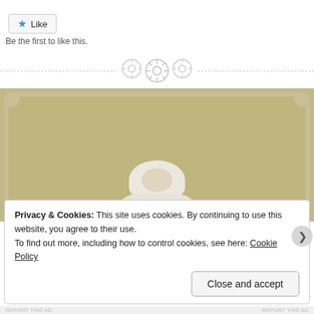[Figure (other): Like button with blue star icon and text 'Like']
Be the first to like this.
[Figure (other): Divider line with three circular button/gear icons in the center]
[Figure (photo): Partial photo of a baby wearing a white knit hat in a tan/beige background setting]
Privacy & Cookies: This site uses cookies. By continuing to use this website, you agree to their use.
To find out more, including how to control cookies, see here: Cookie Policy
Close and accept